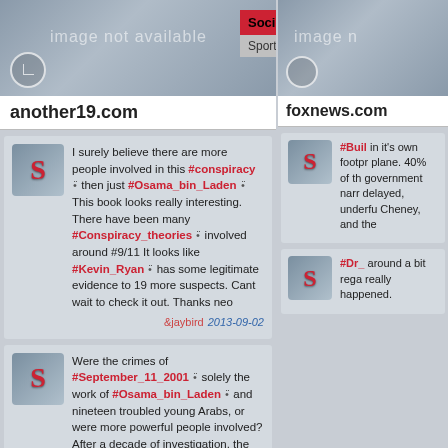[Figure (screenshot): Image not available banner for another19.com with clock icon and dropdown menu showing Society and Sports categories]
another19.com
I surely believe there are more people involved in this #conspiracy then just #Osama_bin_Laden This book looks really interesting. There have been many #Conspiracy_theories involved around #9/11 It looks like #Kevin_Ryan has some legitimate evidence to 19 more suspects. Cant wait to check it out. Thanks neo &jaybird 2013-09-02
Were the crimes of #September_11_2001 solely the work of #Osama_bin_Laden and nineteen troubled young Arabs, or were more powerful people involved? After a decade of investigation, the long-time co-editor of the Journal of 9/11 Studies offers an evidence-based analysis of nineteen other suspects. With the support of victim's families and leading #9/11 researchers, Another Nineteen looks at who was in position to accomplish major elements of the crimes that still need to be explained. Detailed evidence is presented that reveals how each of the alternative suspects had the means, motive and opportunity to accomplish one or more aspects of the 9/11 events. &neo 2013-09-01
[Figure (screenshot): Image not available banner for foxnews.com with clock icon]
foxnews.com
#Building 7 collapsed in it's own footprint like a controlled demolition plane. 40% of the commissioners rejected the government narrative. Response was delayed, underfunded. Look into Rumsfeld, Cheney, and the
#Dr_ around a bit regarding what really happened.
[Figure (screenshot): Large avatar/icon image at bottom right showing stylized S logo]